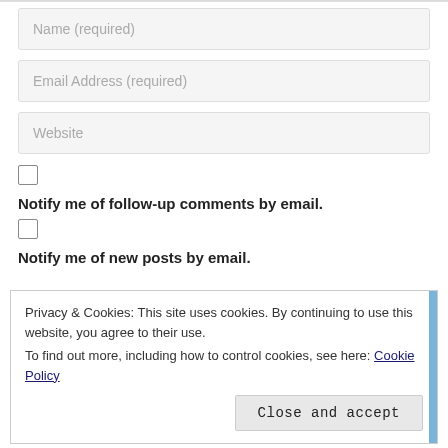Name (required)
Email Address (required)
Website
Notify me of follow-up comments by email.
Notify me of new posts by email.
Privacy & Cookies: This site uses cookies. By continuing to use this website, you agree to their use.
To find out more, including how to control cookies, see here: Cookie Policy
Close and accept